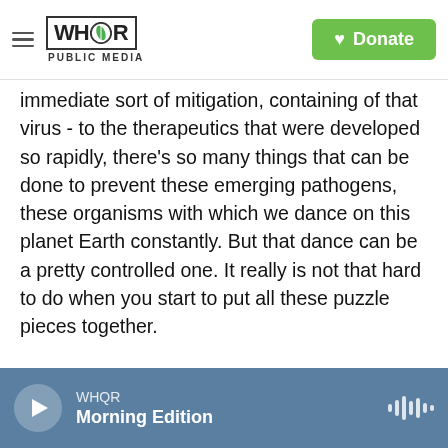WHQR PUBLIC MEDIA — Donate
immediate sort of mitigation, containing of that virus - to the therapeutics that were developed so rapidly, there's so many things that can be done to prevent these emerging pathogens, these organisms with which we dance on this planet Earth constantly. But that dance can be a pretty controlled one. It really is not that hard to do when you start to put all these puzzle pieces together.
MARTIN: The book is called "World War C: Lessons From The COVID-19 Pandemic And How To Prepare For The Next One."
Dr. Sanjay Gupta, it's been a pleasure. Thank you so
WHQR Morning Edition